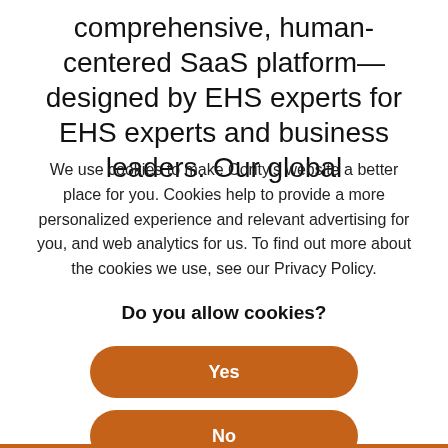comprehensive, human-centered SaaS platform—designed by EHS experts for EHS experts and business leaders. Our global
We use cookies to make Cority's website a better place for you. Cookies help to provide a more personalized experience and relevant advertising for you, and web analytics for us. To find out more about the cookies we use, see our Privacy Policy.
Do you allow cookies?
Yes
No